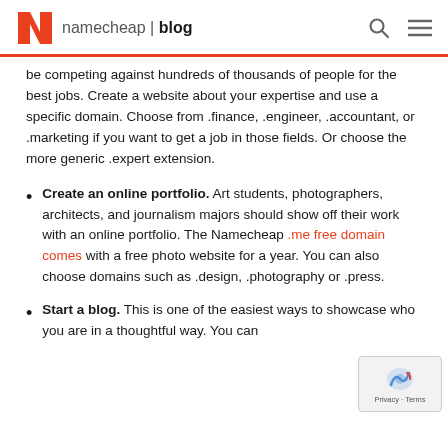namecheap | blog
be competing against hundreds of thousands of people for the best jobs. Create a website about your expertise and use a specific domain. Choose from .finance, .engineer, .accountant, or .marketing if you want to get a job in those fields. Or choose the more generic .expert extension.
Create an online portfolio. Art students, photographers, architects, and journalism majors should show off their work with an online portfolio. The Namecheap .me free domain comes with a free photo website for a year. You can also choose domains such as .design, .photography or .press.
Start a blog. This is one of the easiest ways to showcase who you are in a thoughtful way. You can